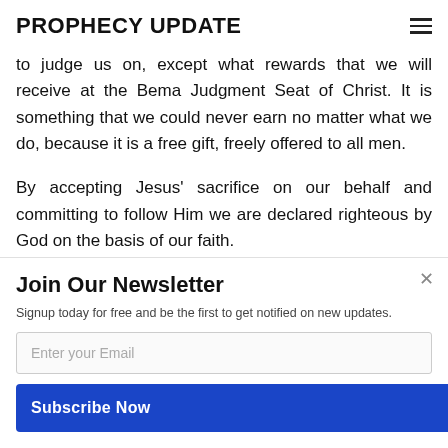PROPHECY UPDATE
to judge us on, except what rewards that we will receive at the Bema Judgment Seat of Christ. It is something that we could never earn no matter what we do, because it is a free gift, freely offered to all men.
By accepting Jesus' sacrifice on our behalf and committing to follow Him we are declared righteous by God on the basis of our faith.
[Figure (other): POWERED BY SUMO badge/watermark overlay]
Join Our Newsletter
Signup today for free and be the first to get notified on new updates.
Enter your Email
Subscribe Now